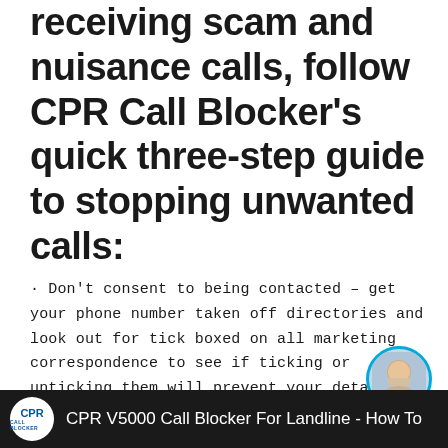receiving scam and nuisance calls, follow CPR Call Blocker's quick three-step guide to stopping unwanted calls:
· Don't consent to being contacted – get your phone number taken off directories and look out for tick boxed on all marketing correspondence to see if ticking or unticking them will prevent your details being passed on to third parties.
· Consider getting a call blocker.
[Figure (screenshot): Bottom bar showing CPR logo on dark background with text 'CPR V5000 Call Blocker For Landline - How To' and a circular avatar of a person in the bottom right corner]